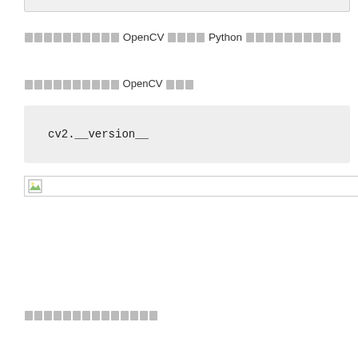░░░░░░░░░░ OpenCV ░░░░ Python ░░░░░░░░░░
░░░░░░░░░░ OpenCV ░░░
cv2.__version__
[Figure (screenshot): Small image icon placeholder at top of output area]
░░░░░░░░░░░░░░